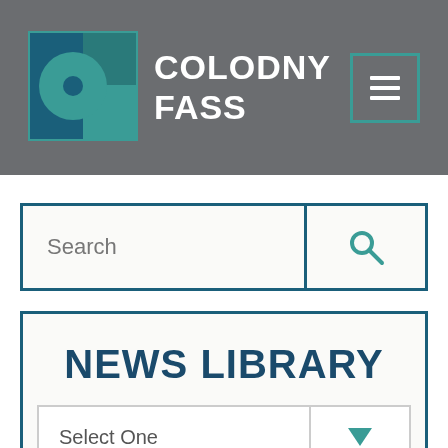COLODNY FASS
[Figure (logo): Colodny Fass logo with teal and dark geometric squares and semicircle]
Search
NEWS LIBRARY
Select One